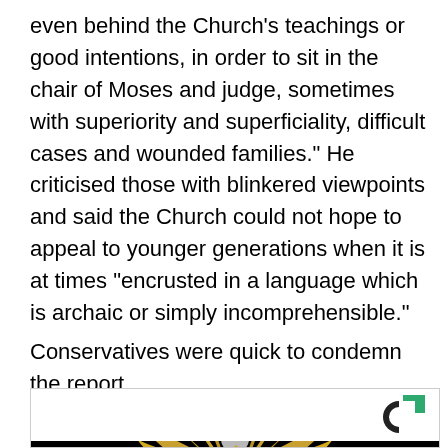even behind the Church's teachings or good intentions, in order to sit in the chair of Moses and judge, sometimes with superiority and superficiality, difficult cases and wounded families." He criticised those with blinkered viewpoints and said the Church could not hope to appeal to younger generations when it is at times "encrusted in a language which is archaic or simply incomprehensible."
Conservatives were quick to condemn the report.
[Figure (logo): CivicScience logo (C with green square accent) above a black panel showing a golden eagle emblem]